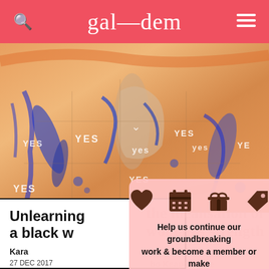gal—dem
[Figure (illustration): Colorful artistic illustration with orange and blue brushstroke figures with 'YES' text overlaid multiple times across the image]
Unlearning the idealisation of a black woman's strength
Karabo Keapoletswe
27 DEC 2017
[Figure (infographic): Pink membership overlay card with heart, calendar, gift, and tag icons, with text: Help us continue our groundbreaking work & become a member or make a donation today!]
Help us continue our groundbreaking work & become a member or make a donation today!